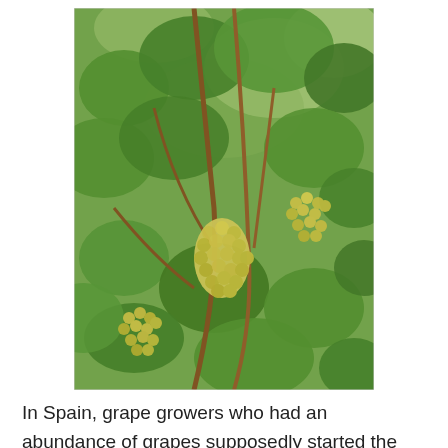[Figure (photo): Close-up photograph of grapevines with clusters of small yellow-green grapes hanging among large green leaves, taken outdoors in bright sunlight.]
In Spain, grape growers who had an abundance of grapes supposedly started the tradition of eating twelve grapes while the clock strikes midnight as a way of encouraging people to buy their surplus grapes. Eating one grape at